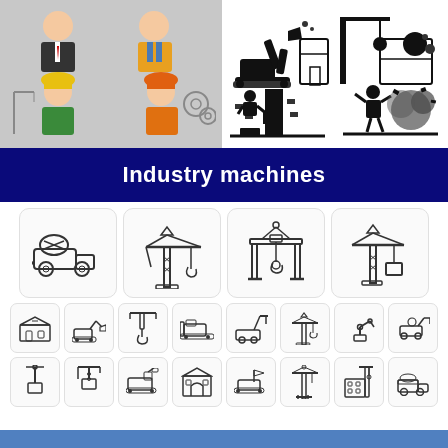[Figure (illustration): Four construction worker avatars on gray background: businessman in suit, worker in overalls, worker with yellow hard hat and crane, worker with orange hard hat and gears]
[Figure (illustration): Black silhouette icons of construction machinery: excavator digging foundation, crane with wrecking ball demolishing building, worker drilling, worker with explosion/debris]
Industry machines
[Figure (illustration): Large outlined icons row: cement mixer truck, tower crane, gantry crane with hook, tower crane with load box]
[Figure (illustration): Small outlined icons row 1: factory/warehouse, excavator, crane hook, bulldozer, small crane vehicle, tower crane, robotic arm, construction vehicle]
[Figure (illustration): Small outlined icons row 2: hook lift, crane with box, tracked machine, building/factory, tracked vehicle with flag, tall crane, building crane, dump truck]